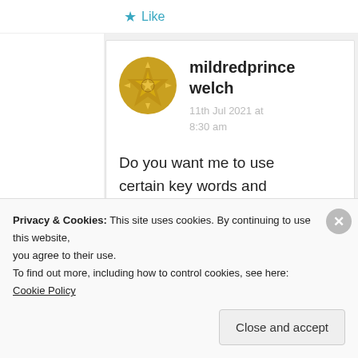Like
mildredprince welch
11th Jul 2021 at 8:30 am
Do you want me to use certain key words and phrases from me from
Privacy & Cookies: This site uses cookies. By continuing to use this website, you agree to their use.
To find out more, including how to control cookies, see here: Cookie Policy
Close and accept